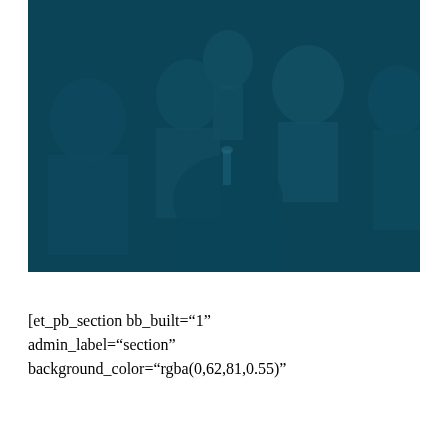[Figure (photo): A group of people sitting together outdoors, overlaid with a dark blue tint (rgba(0,62,81,0.55)). People appear to be socializing, some smiling and interacting.]
[et_pb_section bb_built="1" admin_label="section" background_color="rgba(0,62,81,0.55)"